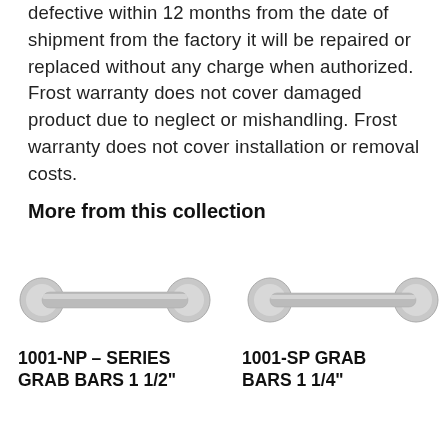defective within 12 months from the date of shipment from the factory it will be repaired or replaced without any charge when authorized. Frost warranty does not cover damaged product due to neglect or mishandling. Frost warranty does not cover installation or removal costs.
More from this collection
[Figure (photo): Grab bar with round flanges on both ends, brushed nickel finish, horizontal orientation]
[Figure (photo): Grab bar with round flanges on both ends, brushed nickel finish, horizontal orientation, slightly shorter]
1001-NP – SERIES GRAB BARS 1 1/2"
1001-SP GRAB BARS 1 1/4"